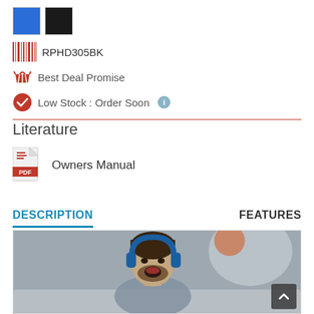[Figure (other): Two color swatches: blue square and black square]
RPHD305BK
Best Deal Promise
Low Stock : Order Soon
Literature
Owners Manual
DESCRIPTION
FEATURES
[Figure (photo): Man wearing blue headphones sitting on couch, smiling/excited, blurred background]